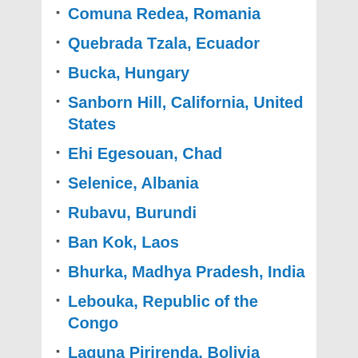Comuna Redea, Romania
Quebrada Tzala, Ecuador
Bucka, Hungary
Sanborn Hill, California, United States
Ehi Egesouan, Chad
Selenice, Albania
Rubavu, Burundi
Ban Kok, Laos
Bhurka, Madhya Pradesh, India
Lebouka, Republic of the Congo
Laguna Pirirenda, Bolivia